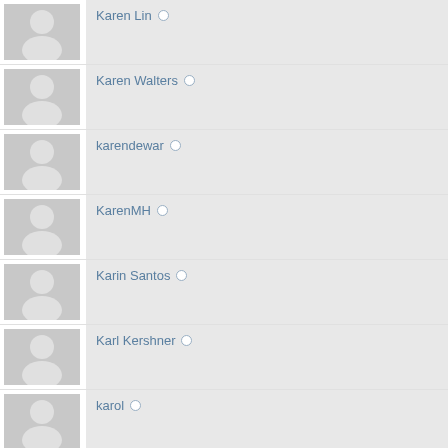Karen Lin
Karen Walters
karendewar
KarenMH
Karin Santos
Karl Kershner
karol
Kat Christy